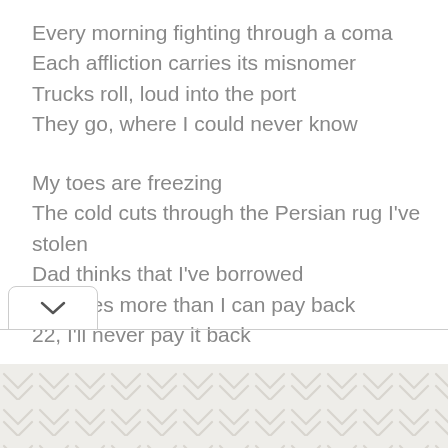Every morning fighting through a coma
Each affliction carries its misnomer
Trucks roll, loud into the port
They go, where I could never know

My toes are freezing
The cold cuts through the Persian rug I've stolen
Dad thinks that I've borrowed
He gives more than I can pay back
22, I'll never pay it back